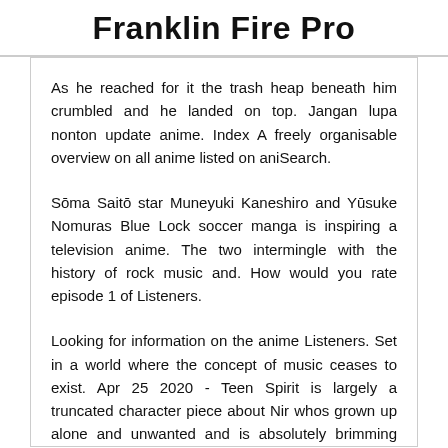Franklin Fire Pro
As he reached for it the trash heap beneath him crumbled and he landed on top. Jangan lupa nonton update anime. Index A freely organisable overview on all anime listed on aniSearch.
Sōma Saitō star Muneyuki Kaneshiro and Yūsuke Nomuras Blue Lock soccer manga is inspiring a television anime. The two intermingle with the history of rock music and. How would you rate episode 1 of Listeners.
Looking for information on the anime Listeners. Set in a world where the concept of music ceases to exist. Apr 25 2020 - Teen Spirit is largely a truncated character piece about Nir whos grown up alone and unwanted and is absolutely brimming with resentment towards the world around her and herself.
A Part of the character cast from the anime Listeners has